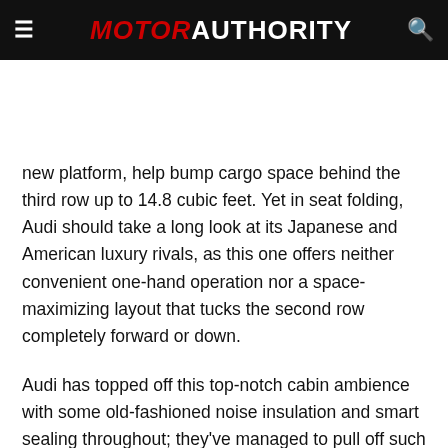MOTOR AUTHORITY
new platform, help bump cargo space behind the third row up to 14.8 cubic feet. Yet in seat folding, Audi should take a long look at its Japanese and American luxury rivals, as this one offers neither convenient one-hand operation nor a space-maximizing layout that tucks the second row completely forward or down.
Audi has topped off this top-notch cabin ambience with some old-fashioned noise insulation and smart sealing throughout; they've managed to pull off such a quiet cabin without the use of active noise